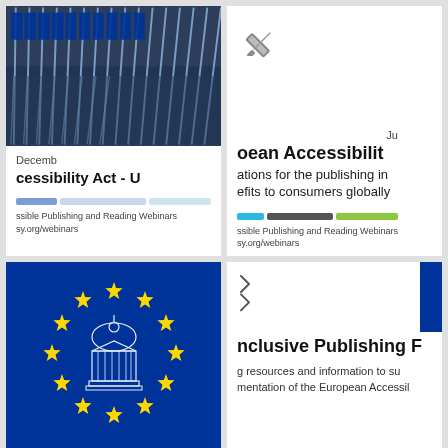[Figure (photo): EU flags in a row - blue flags with yellow stars, building in background]
Decemb
cessibility Act - U
ssible Publishing and Reading Webinars
sy.org/webinars
[Figure (illustration): Pencil icon in grey]
Ju
oean Accessibilit
ations for the publishing in
efits to consumers globally
ssible Publishing and Reading Webinars
sy.org/webinars
[Figure (illustration): European Union flag - blue background with circle of yellow stars and Brandenburg Gate emblem]
nclusive Publishing F
g resources and information to su
mentation of the European Accessil